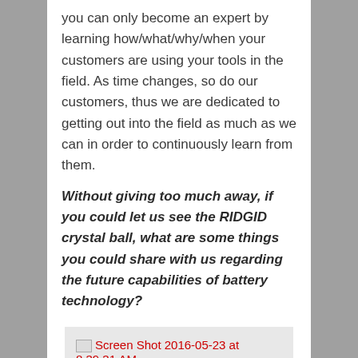you can only become an expert by learning how/what/why/when your customers are using your tools in the field. As time changes, so do our customers, thus we are dedicated to getting out into the field as much as we can in order to continuously learn from them.
Without giving too much away, if you could let us see the RIDGID crystal ball, what are some things you could share with us regarding the future capabilities of battery technology?
[Figure (screenshot): Broken image placeholder showing 'Screen Shot 2016-05-23 at 8.39.31 AM' in red text with broken image icon]